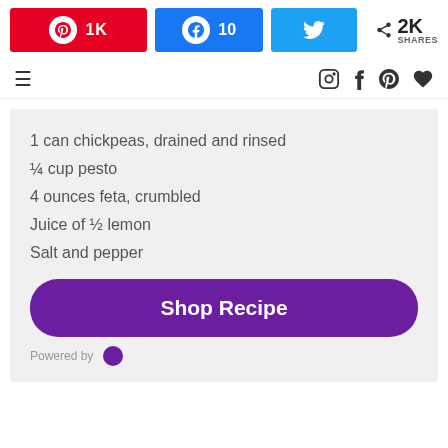[Figure (infographic): Social share buttons bar: Pinterest 1K (red), Facebook 10 (blue), Twitter (light blue), and share count 2K SHARES]
[Figure (infographic): Navigation bar with hamburger menu icon on left and social icons (Instagram, Facebook, Pinterest, heart) on right]
1 can chickpeas, drained and rinsed
¼ cup pesto
4 ounces feta, crumbled
Juice of ½ lemon
Salt and pepper
Shop Recipe
Powered by